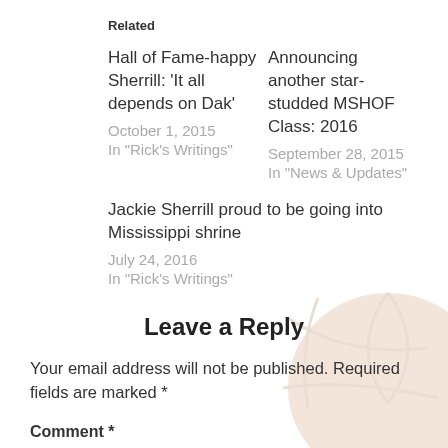Related
Hall of Fame-happy Sherrill: 'It all depends on Dak'
October 1, 2015
In "Rick's Writings"
Announcing another star-studded MSHOF Class: 2016
September 28, 2015
In "News & Updates"
Jackie Sherrill proud to be going into Mississippi shrine
July 24, 2016
In "Rick's Writings"
Leave a Reply
Your email address will not be published. Required fields are marked *
Comment *